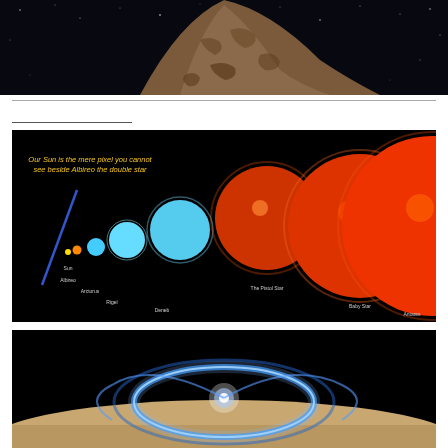[Figure (photo): Close-up photograph of a rocky asteroid or comet surface against a dark starfield background. The rocky body has a reddish-brown, heavily textured surface.]
[Figure (infographic): Star size comparison chart on a black background showing relative sizes of stars from smallest to largest: Sun, Albireo, Arcturus, Rigel, Deneb, The Pistol Star, Baby Star, and Antares. Text overlay in yellow reads 'Our Sun is the mere pixel you cannot see beside Albireo the double star'. Stars range from tiny yellow dot (Sun) to enormous red giants (Antares).]
[Figure (photo): Photograph showing a bright blue auroral display or polar aurora on a planetary surface (likely Jupiter or Saturn), with a glowing blue ring of light against a dark background over a sandy/rocky surface.]